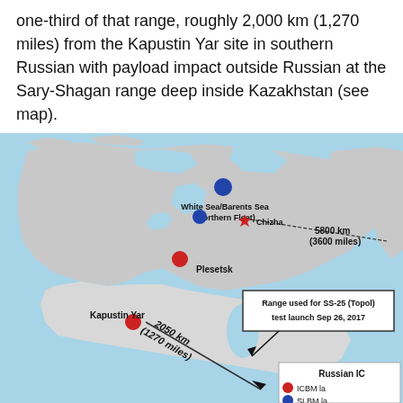one-third of that range, roughly 2,000 km (1,270 miles) from the Kapustin Yar site in southern Russian with payload impact outside Russian at the Sary-Shagan range deep inside Kazakhstan (see map).
[Figure (map): Map of Russia and surrounding region showing missile test ranges. Labels: White Sea/Barents Sea (Northern Fleet), Chizha (red star), Plesetsk (red circle), Kapustin Yar (red circle), 5800 km (3600 miles) range line, 2050 km (1270 miles) range line. Legend box: Range used for SS-25 (Topol) test launch Sep 26, 2017. Partial legend: Russian IC... ICBM la... SLBM la...]